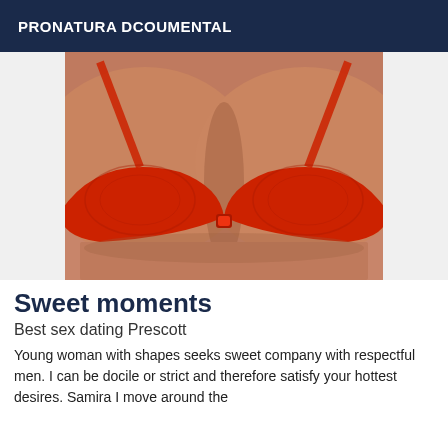PRONATURA DCOUMENTAL
[Figure (photo): Close-up photo of a woman wearing a red lace bra]
Sweet moments
Best sex dating Prescott
Young woman with shapes seeks sweet company with respectful men. I can be docile or strict and therefore satisfy your hottest desires. Samira I move around the